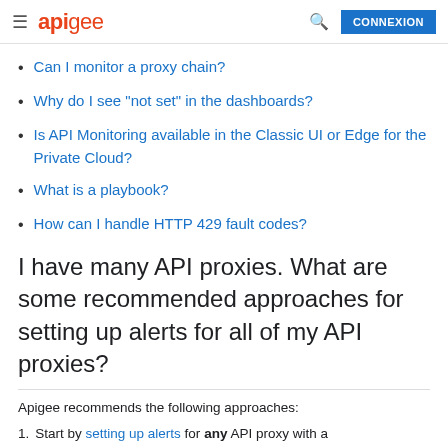apigee  CONNEXION
Can I monitor a proxy chain?
Why do I see "not set" in the dashboards?
Is API Monitoring available in the Classic UI or Edge for the Private Cloud?
What is a playbook?
How can I handle HTTP 429 fault codes?
I have many API proxies. What are some recommended approaches for setting up alerts for all of my API proxies?
Apigee recommends the following approaches:
1. Start by setting up alerts for any API proxy with a